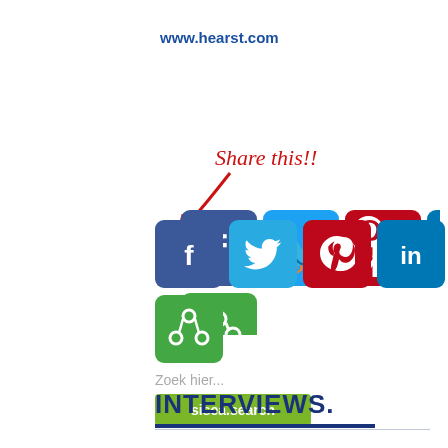www.hearst.com
[Figure (infographic): Share this!! with arrow pointing to social media icons: Facebook, Twitter, Pinterest, LinkedIn, Email, and a green share/recycle icon]
Zoek hier...
sisea.search
INTERVIEWS.